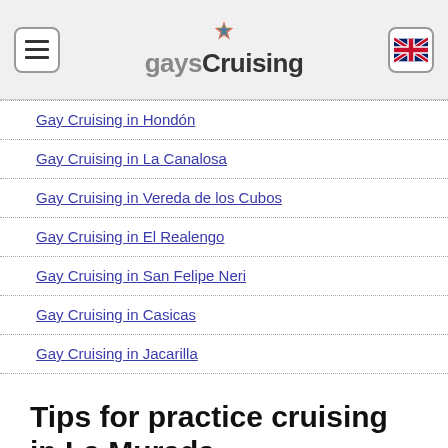gaysCruising
Gay Cruising in Hondón
Gay Cruising in La Canalosa
Gay Cruising in Vereda de los Cubos
Gay Cruising in El Realengo
Gay Cruising in San Felipe Neri
Gay Cruising in Casicas
Gay Cruising in Jacarilla
Tips for practice cruising in La Murada
Use condom
To avoid sexually transmitted diseases, always use a condom. When finished, remember to collect everything (condom